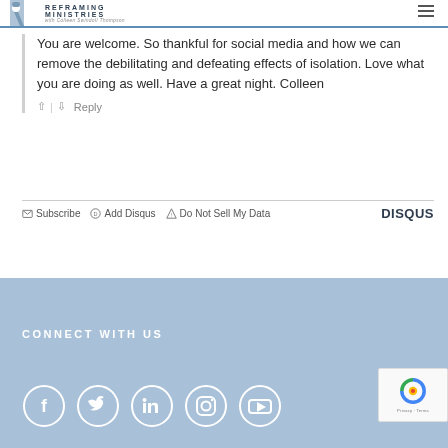Reframing Ministries with Colleen Swindoll Thompson
You are welcome. So thankful for social media and how we can remove the debilitating and defeating effects of isolation. Love what you are doing as well. Have a great night. Colleen
↑ | ↓  Reply
✉ Subscribe  D Add Disqus  ▲ Do Not Sell My Data  DISQUS
CONNECT WITH US
[Figure (other): Social media icon circles: Facebook, Twitter, LinkedIn, Instagram, YouTube]